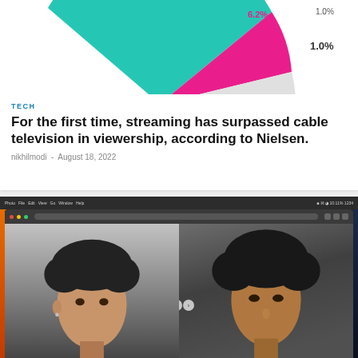[Figure (pie-chart): Partial pie chart visible at top of page showing streaming vs cable TV viewership shares. Visible labels: 6.2% (pink/magenta slice), 1.0% (top right label), 1.0% (bottom right label). Teal and pink slices visible.]
TECH
For the first time, streaming has surpassed cable television in viewership, according to Nielsen.
nikhilmodi  -  August 18, 2022
[Figure (screenshot): Screenshot of a macOS desktop showing a photo editing or browsing application with two side-by-side photos of young men with curly hair. The desktop has a colorful orange/red gradient wallpaper. A browser window with navigation arrows is visible. The mac menu bar is at the top.]